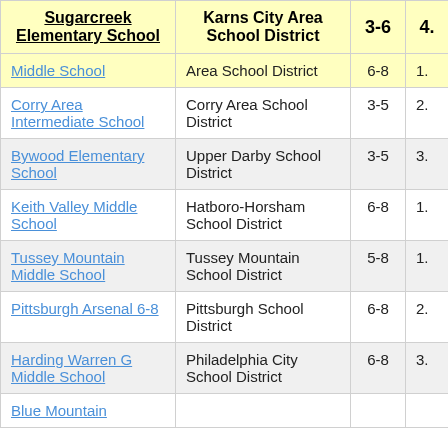| School | District | Grades |  |
| --- | --- | --- | --- |
| Sugarcreek Elementary School | Karns City Area School District | 3-6 | 4. |
| [partial] Middle School | Area School District | 6-8 | 1. |
| Corry Area Intermediate School | Corry Area School District | 3-5 | 2. |
| Bywood Elementary School | Upper Darby School District | 3-5 | 3. |
| Keith Valley Middle School | Hatboro-Horsham School District | 6-8 | 1. |
| Tussey Mountain Middle School | Tussey Mountain School District | 5-8 | 1. |
| Pittsburgh Arsenal 6-8 | Pittsburgh School District | 6-8 | 2. |
| Harding Warren G Middle School | Philadelphia City School District | 6-8 | 3. |
| Blue Mountain [partial] |  |  |  |